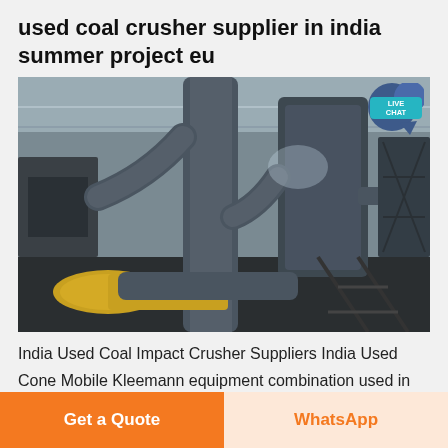used coal crusher supplier in india summer project eu
[Figure (photo): Industrial coal crusher machinery interior showing large grey pipes, ducts, conveyor belt components and structural steel framework inside a manufacturing/processing facility. A 'LIVE CHAT' badge appears in the upper right corner of the image.]
India Used Coal Impact Crusher Suppliers India Used Cone Mobile Kleemann equipment combination used in